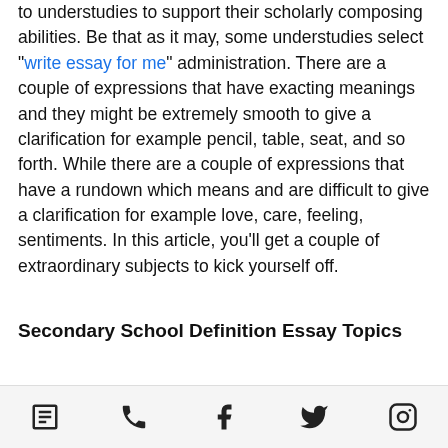to understudies to support their scholarly composing abilities. Be that as it may, some understudies select "write essay for me" administration. There are a couple of expressions that have exacting meanings and they might be extremely smooth to give a clarification for example pencil, table, seat, and so forth. While there are a couple of expressions that have a rundown which means and are difficult to give a clarification for example love, care, feeling, sentiments. In this article, you'll get a couple of extraordinary subjects to kick yourself off.
Secondary School Definition Essay Topics
Self-assurance
Comical inclination